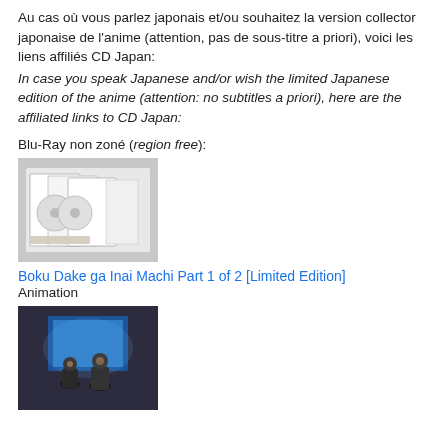Au cas où vous parlez japonais et/ou souhaitez la version collector japonaise de l'anime (attention, pas de sous-titre a priori), voici les liens affiliés CD Japan:
In case you speak Japanese and/or wish the limited Japanese edition of the anime (attention: no subtitles a priori), here are the affiliated links to CD Japan:
Blu-Ray non zoné (region free):
[Figure (photo): Photo of a Blu-Ray limited edition box set with multiple discs spread out on a grey surface, white packaging]
Boku Dake ga Inai Machi Part 1 of 2 [Limited Edition]
Animation
[Figure (photo): Anime illustration showing two characters (a child and an adult) viewed from behind, looking at a bright blue screen or light source in a dark setting]